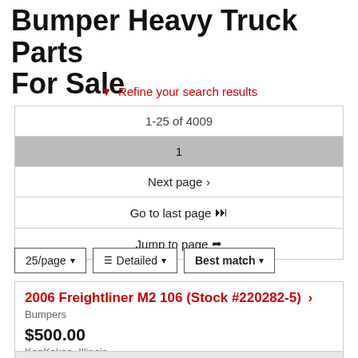Bumper Heavy Truck Parts For Sale
Refine your search results
| 1-25 of 4009 |
| 1 |
| Next page › |
| Go to last page ⏭ |
| Jump to page ➦ |
25/page  Detailed  Best match
2006 Freightliner M2 106 (Stock #220282-5) ›
Bumpers
$500.00
KanKakee, Illinois
[Figure (photo): Partial view of a bumper product photo at the bottom of the page]